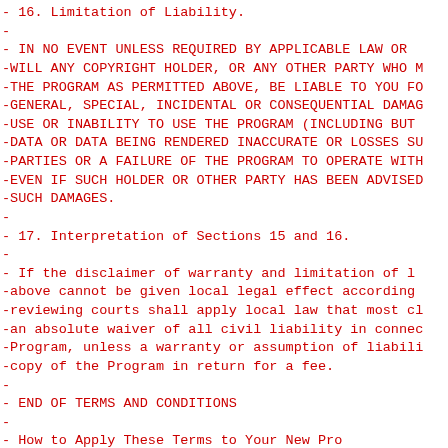-  16. Limitation of Liability.
-
-  IN NO EVENT UNLESS REQUIRED BY APPLICABLE LAW OR
-WILL ANY COPYRIGHT HOLDER, OR ANY OTHER PARTY WHO M
-THE PROGRAM AS PERMITTED ABOVE, BE LIABLE TO YOU FO
-GENERAL, SPECIAL, INCIDENTAL OR CONSEQUENTIAL DAMAG
-USE OR INABILITY TO USE THE PROGRAM (INCLUDING BUT
-DATA OR DATA BEING RENDERED INACCURATE OR LOSSES SU
-PARTIES OR A FAILURE OF THE PROGRAM TO OPERATE WITH
-EVEN IF SUCH HOLDER OR OTHER PARTY HAS BEEN ADVISED
-SUCH DAMAGES.
-
-  17. Interpretation of Sections 15 and 16.
-
-  If the disclaimer of warranty and limitation of l
-above cannot be given local legal effect according
-reviewing courts shall apply local law that most cl
-an absolute waiver of all civil liability in connec
-Program, unless a warranty or assumption of liabili
-copy of the Program in return for a fee.
-
-                    END OF TERMS AND CONDITIONS
-
-            How to Apply These Terms to Your New Pro
-
-  If you develop a new program, and you want it to
-possible use to the public, the best way to achieve
-free software which everyone can redistribute and c
-
-  To do so, attach the following notices to the pro